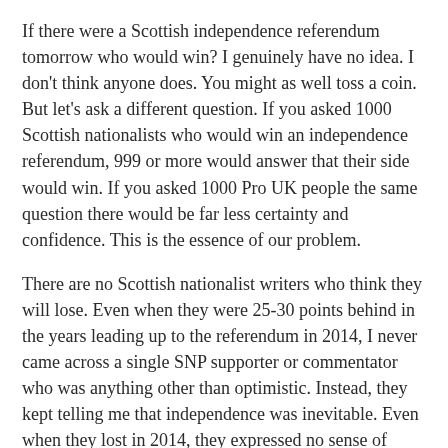If there were a Scottish independence referendum tomorrow who would win? I genuinely have no idea. I don't think anyone does. You might as well toss a coin. But let's ask a different question. If you asked 1000 Scottish nationalists who would win an independence referendum, 999 or more would answer that their side would win. If you asked 1000 Pro UK people the same question there would be far less certainty and confidence. This is the essence of our problem.
There are no Scottish nationalist writers who think they will lose. Even when they were 25-30 points behind in the years leading up to the referendum in 2014, I never came across a single SNP supporter or commentator who was anything other than optimistic. Instead, they kept telling me that independence was inevitable. Even when they lost in 2014, they expressed no sense of pessimism. From that moment they kept telling me that they would have another go and when they had their chance they would win.